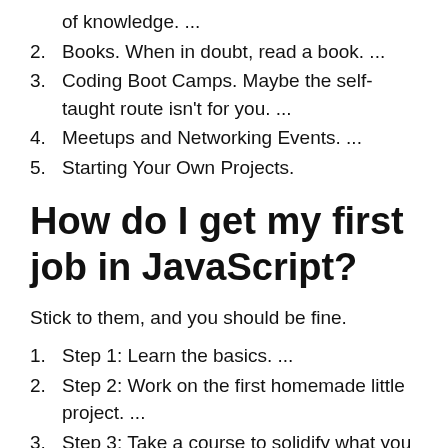of knowledge. ...
2. Books. When in doubt, read a book. ...
3. Coding Boot Camps. Maybe the self-taught route isn't for you. ...
4. Meetups and Networking Events. ...
5. Starting Your Own Projects.
How do I get my first job in JavaScript?
Stick to them, and you should be fine.
1. Step 1: Learn the basics. ...
2. Step 2: Work on the first homemade little project. ...
3. Step 3: Take a course to solidify what you have learned. ...
4. Step 4: Explore best practice...